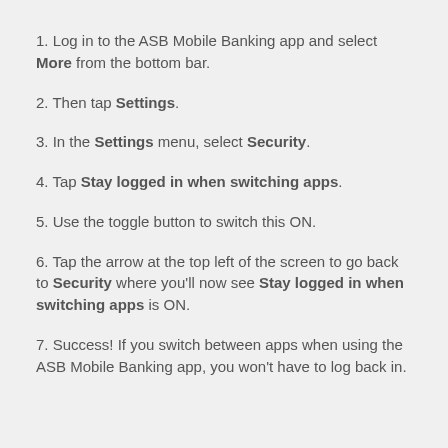1. Log in to the ASB Mobile Banking app and select More from the bottom bar.
2. Then tap Settings.
3. In the Settings menu, select Security.
4. Tap Stay logged in when switching apps.
5. Use the toggle button to switch this ON.
6. Tap the arrow at the top left of the screen to go back to Security where you'll now see Stay logged in when switching apps is ON.
7. Success! If you switch between apps when using the ASB Mobile Banking app, you won't have to log back in.